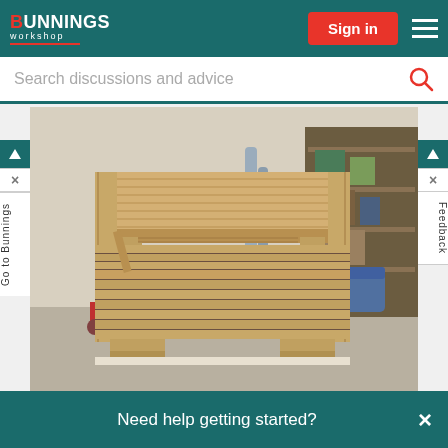Bunnings Workshop — Sign in
Search discussions and advice
[Figure (photo): A DIY wooden workbench made from timber pallets, photographed in a garage setting. The workbench has a slatted lower shelf and a solid top surface, with a cluttered garage visible in the background.]
Need help getting started? ×